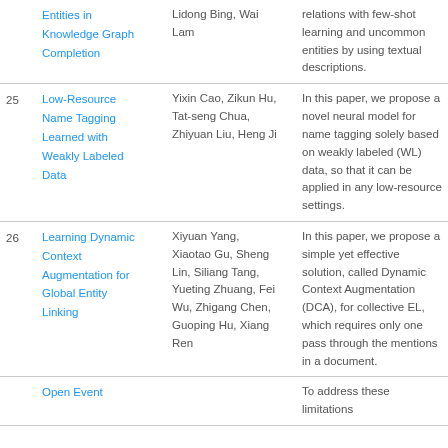| # | Title | Authors | Description |
| --- | --- | --- | --- |
|  | Entities in Knowledge Graph Completion | Lidong Bing, Wai Lam | relations with few-shot learning and uncommon entities by using textual descriptions. |
| 25 | Low-Resource Name Tagging Learned with Weakly Labeled Data | Yixin Cao, Zikun Hu, Tat-seng Chua, Zhiyuan Liu, Heng Ji | In this paper, we propose a novel neural model for name tagging solely based on weakly labeled (WL) data, so that it can be applied in any low-resource settings. |
| 26 | Learning Dynamic Context Augmentation for Global Entity Linking | Xiyuan Yang, Xiaotao Gu, Sheng Lin, Siliang Tang, Yueting Zhuang, Fei Wu, Zhigang Chen, Guoping Hu, Xiang Ren | In this paper, we propose a simple yet effective solution, called Dynamic Context Augmentation (DCA), for collective EL, which requires only one pass through the mentions in a document. |
|  | Open Event |  | To address these limitations |